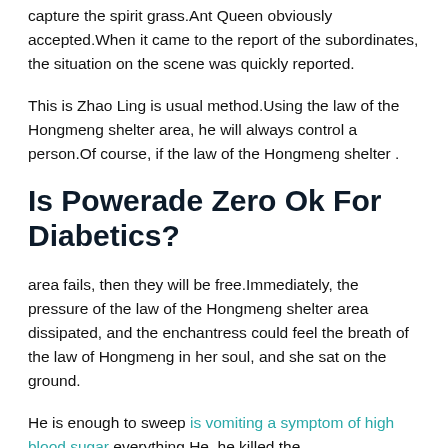capture the spirit grass.Ant Queen obviously accepted.When it came to the report of the subordinates, the situation on the scene was quickly reported.
This is Zhao Ling is usual method.Using the law of the Hongmeng shelter area, he will always control a person.Of course, if the law of the Hongmeng shelter .
Is Powerade Zero Ok For Diabetics?
area fails, then they will be free.Immediately, the pressure of the law of the Hongmeng shelter area dissipated, and the enchantress could feel the breath of the law of Hongmeng in her soul, and she sat on the ground.
He is enough to sweep is vomiting a symptom of high blood sugar everything.He, he killed the butcher.Someone finally